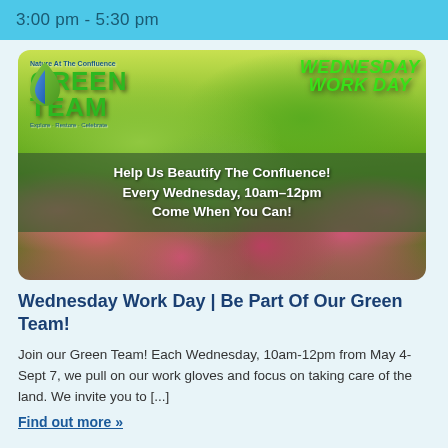3:00 pm - 5:30 pm
[Figure (photo): Nature At The Confluence Green Team Wednesday Work Day promotional image with colorful flowers (purple coneflowers/echinacea) in background and green text overlay reading 'Help Us Beautify The Confluence! Every Wednesday, 10am-12pm Come When You Can!']
Wednesday Work Day | Be Part Of Our Green Team!
Join our Green Team! Each Wednesday, 10am-12pm from May 4- Sept 7, we pull on our work gloves and focus on taking care of the land.  We invite you to [...]
Find out more »